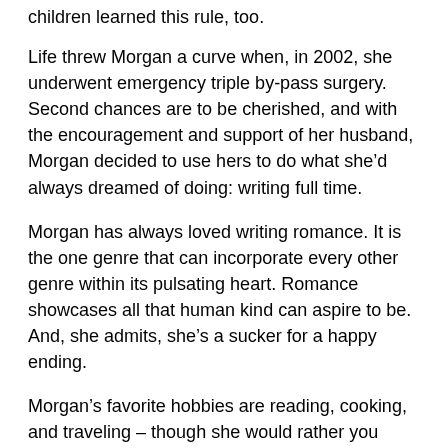children learned this rule, too.
Life threw Morgan a curve when, in 2002, she underwent emergency triple by-pass surgery. Second chances are to be cherished, and with the encouragement and support of her husband, Morgan decided to use hers to do what she’d always dreamed of doing: writing full time.
Morgan has always loved writing romance. It is the one genre that can incorporate every other genre within its pulsating heart. Romance showcases all that human kind can aspire to be. And, she admits, she’s a sucker for a happy ending.
Morgan’s favorite hobbies are reading, cooking, and traveling – though she would rather you didn’t mention that last one to her husband. She has too much fun teasing him about having become a “Traveling Fool” of late.